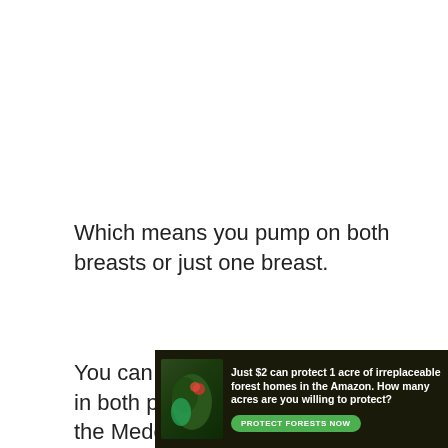Which means you pump on both breasts or just one breast.
You can easily adjust the settings in both pumping modes for both the Medela and Spectra.
Package
Both the Spectra S2 and Medela Freestyle Flex come with their own complete set of accessories.
[Figure (infographic): Advertisement banner: dark forest background with leaf/frog image on left. Text reads 'Just $2 can protect 1 acre of irreplaceable forest homes in the Amazon. How many acres are you willing to protect?' with a green 'PROTECT FORESTS NOW' button.]